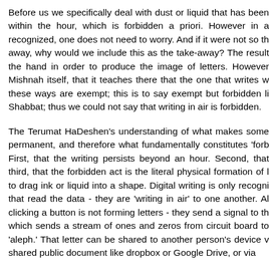Before us we specifically deal with dust or liquid that has been within the hour, which is forbidden a priori. However in a recognized, one does not need to worry. And if it were not so th away, why would we include this as the take-away? The result the hand in order to produce the image of letters. However Mishnah itself, that it teaches there that the one that writes w these ways are exempt; this is to say exempt but forbidden like Shabbat; thus we could not say that writing in air is forbidden.
The Terumat HaDeshen's understanding of what makes some permanent, and therefore what fundamentally constitutes 'forb First, that the writing persists beyond an hour. Second, that third, that the forbidden act is the literal physical formation of l to drag ink or liquid into a shape. Digital writing is only recogni that read the data - they are 'writing in air' to one another. Al clicking a button is not forming letters - they send a signal to th which sends a stream of ones and zeros from circuit board to 'aleph.' That letter can be shared to another person's device v shared public document like dropbox or Google Drive, or via